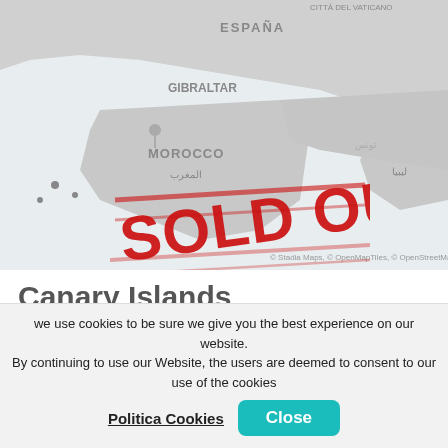[Figure (map): Map showing Mediterranean region including Spain, Gibraltar, Morocco, Tunisia, Libya with SOLD OUT! stamp overlay]
Canary Islands
France > Italy > Spain > Morocco > Portugal
Tour Operator
MSC Cruises
Ship
MSC Poesia
Depart from
Length
we use cookies to be sure we give you the best experience on our website. By continuing to use our Website, the users are deemed to consent to our use of the cookies
Politica Cookies
Close